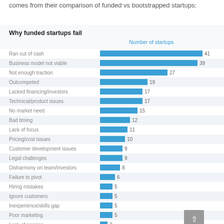comes from their comparison of funded vs bootstrapped startups:
[Figure (bar-chart): Why funded startups fail]